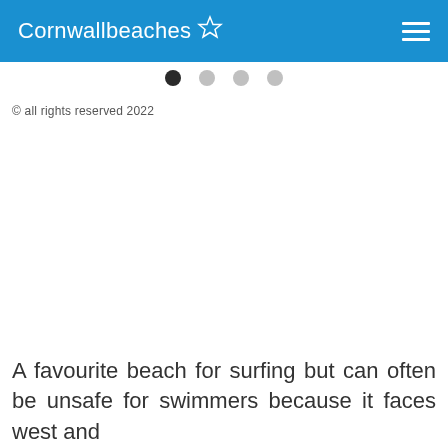Cornwallbeaches ☆
[Figure (other): Pagination dots: one filled dark circle followed by three light grey circles]
© all rights reserved 2022
A favourite beach for surfing but can often be unsafe for swimmers because it faces west and